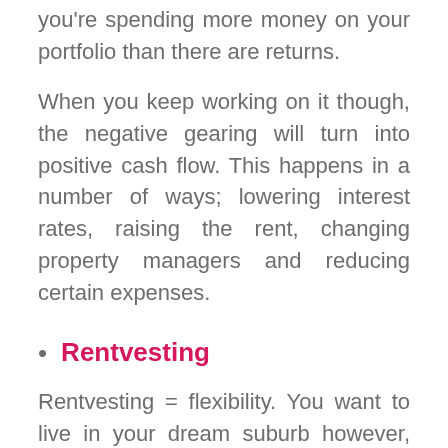you're spending more money on your portfolio than there are returns.
When you keep working on it though, the negative gearing will turn into positive cash flow. This happens in a number of ways; lowering interest rates, raising the rent, changing property managers and reducing certain expenses.
Rentvesting
Rentvesting = flexibility. You want to live in your dream suburb however, housing prices are on the expensive side. But you can still rent. You also have flexibility in terms of property